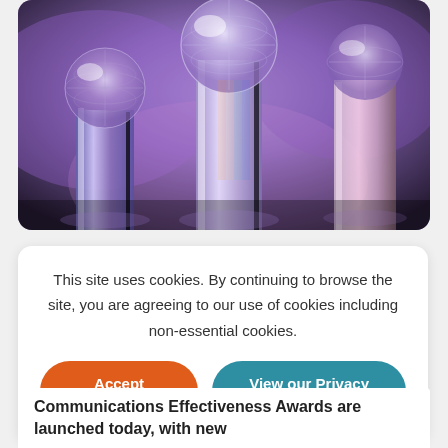[Figure (photo): Crystal globe trophies on tall glass columns illuminated with purple and blue lighting at an awards ceremony]
This site uses cookies. By continuing to browse the site, you are agreeing to our use of cookies including non-essential cookies.
Accept settings
View our Privacy Policy
Communications Effectiveness Awards are launched today, with new